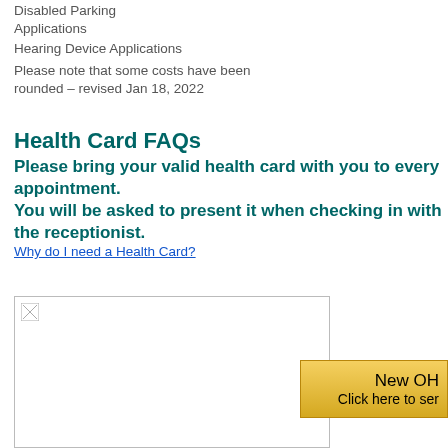Disabled Parking Applications
Hearing Device Applications
Please note that some costs have been rounded – revised Jan 18, 2022
Health Card FAQs
Please bring your valid health card with you to every appointment. You will be asked to present it when checking in with the receptionist.
Why do I need a Health Card?
[Figure (photo): Image placeholder with broken image icon]
New OH Click here to ser